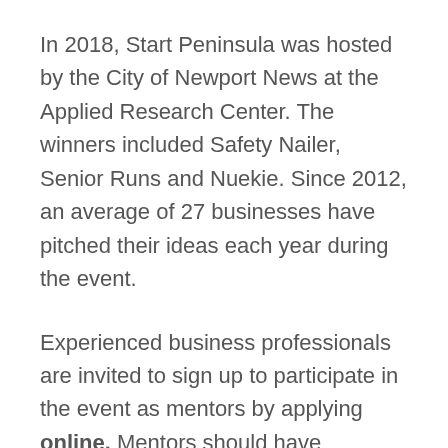In 2018, Start Peninsula was hosted by the City of Newport News at the Applied Research Center. The winners included Safety Nailer, Senior Runs and Nuekie. Since 2012, an average of 27 businesses have pitched their ideas each year during the event.
Experienced business professionals are invited to sign up to participate in the event as mentors by applying online. Mentors should have experience in marketing, sales, technology, finance, risk management, law, human resources or business ownership.
Start Peninsula 2019 is hosted by the City of Hampton, in partnership with the Cities of Newport